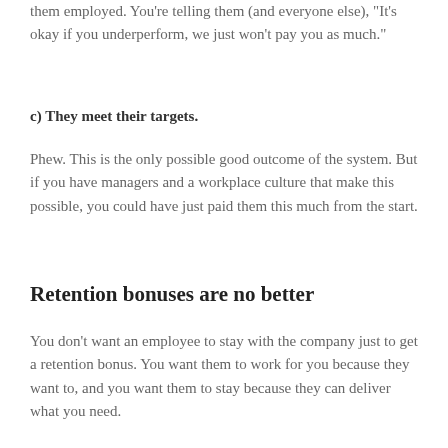them employed. You're telling them (and everyone else), "It's okay if you underperform, we just won't pay you as much."
c) They meet their targets.
Phew. This is the only possible good outcome of the system. But if you have managers and a workplace culture that make this possible, you could have just paid them this much from the start.
Retention bonuses are no better
You don't want an employee to stay with the company just to get a retention bonus. You want them to work for you because they want to, and you want them to stay because they can deliver what you need.